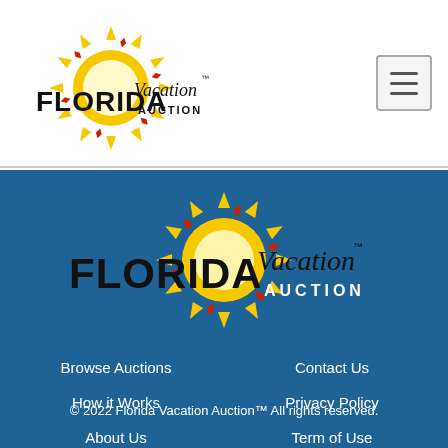[Figure (logo): Florida Vacation Auction logo in header — sun icon with yellow/red spikes and stylized text]
[Figure (logo): Florida Vacation Auction logo centered on blue footer — sun icon with yellow/red spikes, black FLORIDA text, script Vacation, white AUCTION text]
Browse Auctions
Contact Us
How it Works
Privacy Policy
About Us
Term of Use
© 2022 Florida Vacation Auction™ All rights reserved.